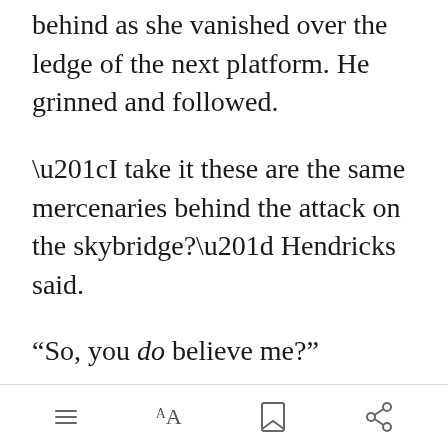behind as she vanished over the ledge of the next platform. He grinned and followed.
“I take it these are the same mercenaries behind the attack on the skybridge?” Hendricks said.
“So, you do believe me?”
“Always did .. [Open in app] ded to be
[toolbar icons: list, font size, bookmark, share]